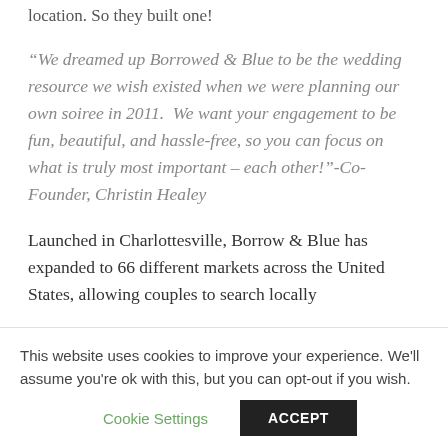location. So they built one!
“We dreamed up Borrowed & Blue to be the wedding resource we wish existed when we were planning our own soiree in 2011.  We want your engagement to be fun, beautiful, and hassle-free, so you can focus on what is truly most important – each other!”-Co-Founder, Christin Healey
Launched in Charlottesville, Borrow & Blue has expanded to 66 different markets across the United States, allowing couples to search locally
This website uses cookies to improve your experience. We'll assume you're ok with this, but you can opt-out if you wish.
Cookie Settings
ACCEPT